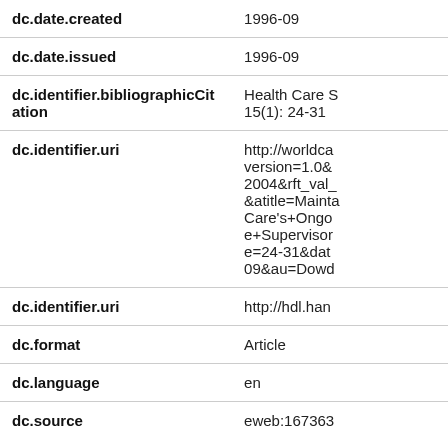| Field | Value |
| --- | --- |
| dc.date.created | 1996-09 |
| dc.date.issued | 1996-09 |
| dc.identifier.bibliographicCitation | Health Care S 15(1): 24-31 |
| dc.identifier.uri | http://worldca version=1.0& 2004&rft_val_ &atitle=Mainta Care's+Ongo e+Supervisor e=24-31&dat 09&au=Dowd |
| dc.identifier.uri | http://hdl.han |
| dc.format | Article |
| dc.language | en |
| dc.source | eweb:167363 |